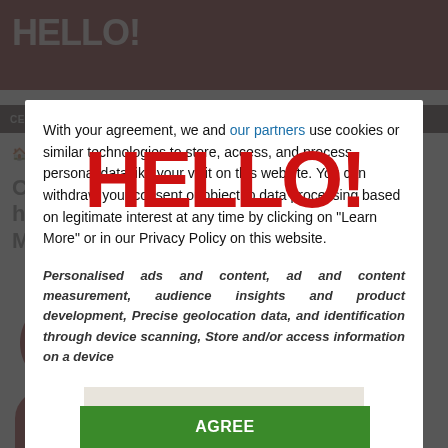[Figure (screenshot): HELLO! magazine website screenshot showing header with logo, navigation bar with CELEBRITIES, HOMES, FOOD categories, breadcrumb Celebrity News, and partially visible article in background]
[Figure (logo): Large red HELLO! magazine logo overlaid on the modal dialog]
With your agreement, we and our partners use cookies or similar technologies to store, access, and process personal data like your visit on this website. You can withdraw your consent or object to data processing based on legitimate interest at any time by clicking on "Learn More" or in our Privacy Policy on this website.
Personalised ads and content, ad and content measurement, audience insights and product development, Precise geolocation data, and identification through device scanning, Store and/or access information on a device
OPTIONS
AGREE